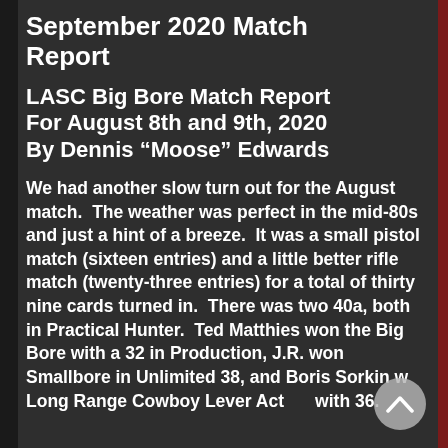September 2020 Match Report
LASC Big Bore Match Report For August 8th and 9th, 2020 By Dennis “Moose” Edwards
We had another slow turn out for the August match.  The weather was perfect in the mid-80s and just a hint of a breeze.  It was a small pistol match (sixteen entries) and a little better rifle match (twenty-three entries) for a total of thirty nine cards turned in.  There was two 40a, both in Practical Hunter.  Ted Matthies won the Big Bore with a 32 in Production, J.R. won Smallbore in Unlimited 38, and Boris Sorkin won Long Range Cowboy Lever Action with 36.